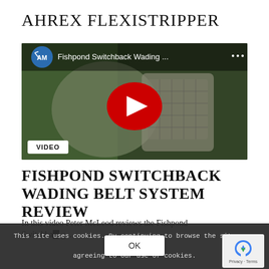AHREX FLEXISTRIPPER
[Figure (screenshot): YouTube video thumbnail for 'Fishpond Switchback Wading...' with red play button, AM channel logo, fishing pack background, and VIDEO label badge]
FISHPOND SWITCHBACK WADING BELT SYSTEM REVIEW
In this video Peter McLeod reviews the Fishpond Switchba... g...
This site uses cookies. By continuing to browse the site, you are agreeing to our use of cookies.
OK